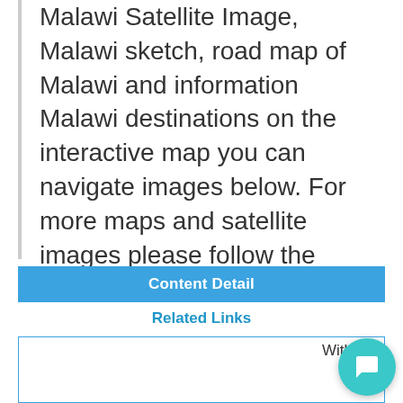Malawi Satellite Image, Malawi sketch, road map of Malawi and information Malawi destinations on the interactive map you can navigate images below. For more maps and satellite images please follow the page.
Content Detail
Related Links
With